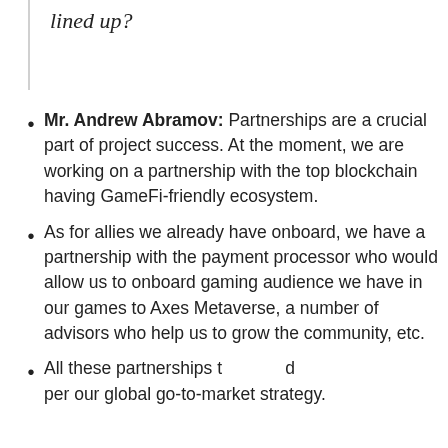lined up?
Mr. Andrew Abramov: Partnerships are a crucial part of project success. At the moment, we are working on a partnership with the top blockchain having GameFi-friendly ecosystem.
As for allies we already have onboard, we have a partnership with the payment processor who would allow us to onboard gaming audience we have in our games to Axes Metaverse, a number of advisors who help us to grow the community, etc.
All these partnerships t[...] d [...] per our global go-to-market strategy.